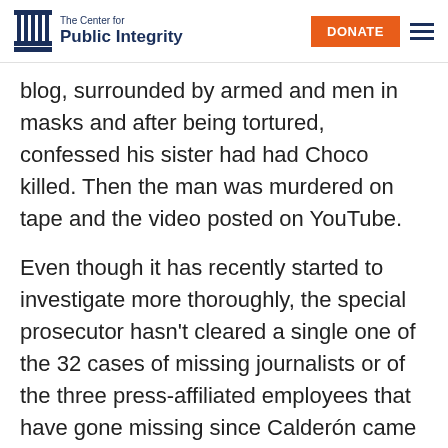The Center for Public Integrity | DONATE
blog, surrounded by armed and men in masks and after being tortured, confessed his sister had had Choco killed. Then the man was murdered on tape and the video posted on YouTube.
Even though it has recently started to investigate more thoroughly, the special prosecutor hasn't cleared a single one of the 32 cases of missing journalists or of the three press-affiliated employees that have gone missing since Calderón came to office according to the CPJ.
“Systemic impunity allows insecurity to take root,”